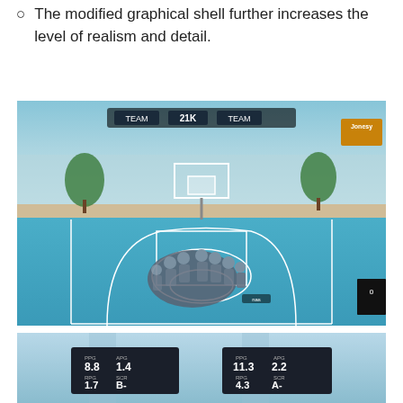The modified graphical shell further increases the level of realism and detail.
[Figure (screenshot): NBA 2K basketball video game screenshot showing multiple player characters grouped on a blue basketball court in an outdoor arena setting with scoreboard UI elements visible at top and a player card 'Jonesy' in top right corner.]
[Figure (screenshot): NBA 2K player stats cards showing two player stat panels: left panel PPG 8.8, APG 1.4, RPG 1.7, grade B-; right panel PPG 11.3, APG 2.2, RPG 4.3, grade A-.]